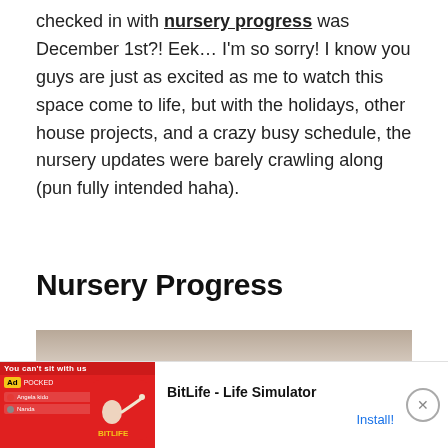checked in with nursery progress was December 1st?! Eek... I'm so sorry! I know you guys are just as excited as me to watch this space come to life, but with the holidays, other house projects, and a crazy busy schedule, the nursery updates were barely crawling along (pun fully intended haha).
Nursery Progress
[Figure (photo): Partial photo of nursery room, showing neutral/beige tones]
[Figure (other): Advertisement banner for BitLife - Life Simulator with red background and install button]